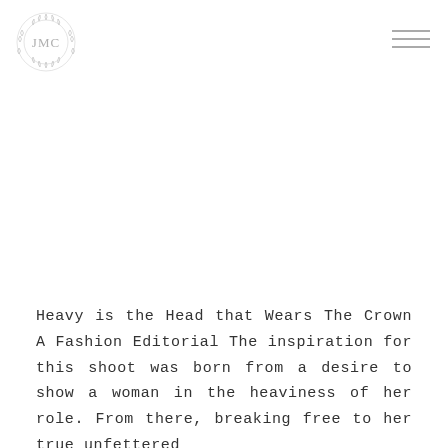[Figure (logo): Circular ornate floral monogram logo with decorative botanical border in light gray]
[Figure (other): Hamburger menu icon with three horizontal lines in light gray]
Heavy is the Head that Wears The Crown A Fashion Editorial The inspiration for this shoot was born from a desire to show a woman in the heaviness of her role. From there, breaking free to her true unfettered